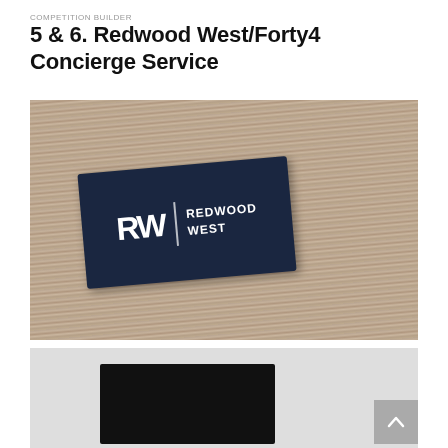COMPETITION BUILDER
5 & 6. Redwood West/Forty4 Concierge Service
[Figure (photo): Photo of a dark navy blue business card with 'RW | REDWOOD WEST' logo in white, sitting on a wood-grain surface]
[Figure (photo): Partial photo showing a black business card on a light gray background, with a scroll-to-top arrow button in the bottom-right corner]